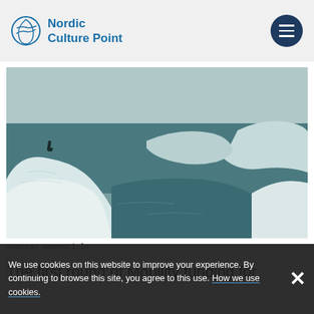Nordic Culture Point
[Figure (photo): A person standing on a large ice floe surrounded by freezing dark sea water, with other ice formations visible. Monochrome teal/grey toned photograph.]
Source: momenti.lv
The first round of Mobility funding for
We use cookies on this website to improve your experience. By continuing to browse this site, you agree to this use. How we use cookies.